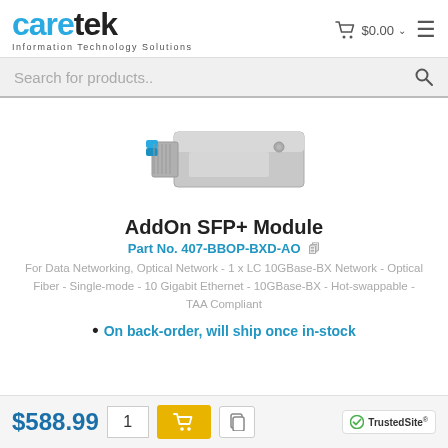caretek Information Technology Solutions — $0.00 cart
[Figure (photo): SFP+ optical transceiver module with blue connector tab, metallic silver housing, partially visible from above-left angle]
AddOn SFP+ Module
Part No. 407-BBOP-BXD-AO
For Data Networking, Optical Network - 1 x LC 10GBase-BX Network - Optical Fiber - Single-mode - 10 Gigabit Ethernet - 10GBase-BX - Hot-swappable - TAA Compliant
• On back-order, will ship once in-stock
$588.99  1  [Add to Cart]  [TrustedSite]